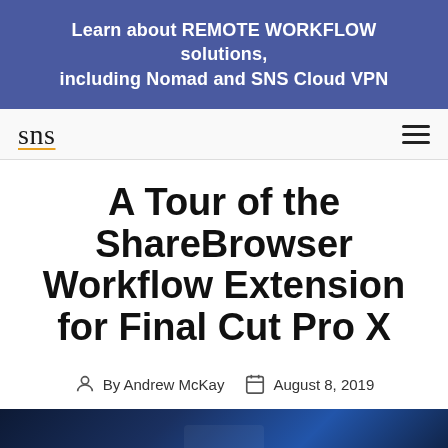Learn about REMOTE WORKFLOW solutions, including Nomad and SNS Cloud VPN
sns
A Tour of the ShareBrowser Workflow Extension for Final Cut Pro X
By Andrew McKay   August 8, 2019
[Figure (photo): Dark blue background image, partial view at bottom of page]